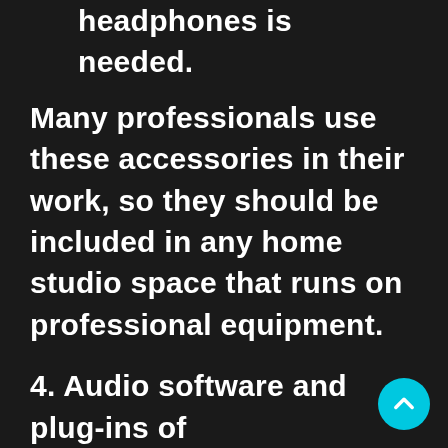microphones, a good pair of headphones is needed.
Many professionals use these accessories in their work, so they should be included in any home studio space that runs on professional equipment.
4. Audio software and plug-ins of choice - Audio software and plug-ins are essential tools in a Home Recording Studio. They help improve recording quality and